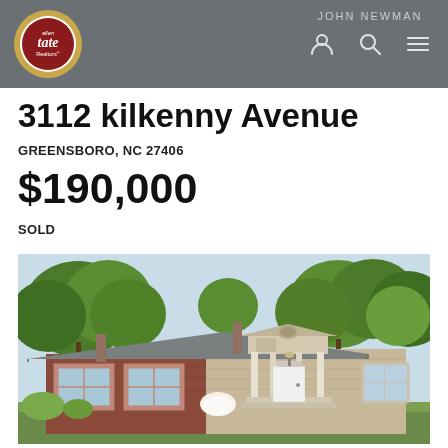Allen Tate Realtors — JOHN NEWMAN
3112 kilkenny Avenue
GREENSBORO, NC 27406
$190,000
SOLD
[Figure (photo): Exterior photo of a single-story ranch-style home with brick lower half, tan siding upper half, colonial-style front entry with white columns, red shutters, surrounded by green trees in spring foliage.]